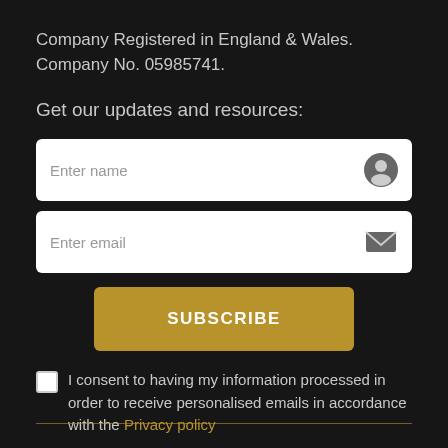Company Registered in England & Wales. Company No. 05985741.
Get our updates and resources:
[Figure (other): Text input field with placeholder 'Enter name' and user icon on the right]
[Figure (other): Text input field with placeholder 'Enter email' and envelope icon on the right]
SUBSCRIBE
I consent to having my information processed in order to receive personalised emails in accordance with the Privacy policy